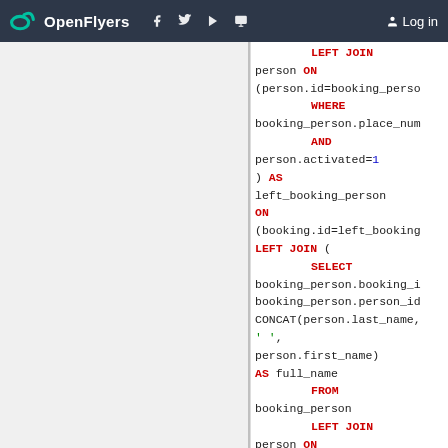OpenFlyers | Log in
[Figure (screenshot): SQL code snippet showing LEFT JOIN, WHERE, AND, AS, ON, SELECT, FROM, LEFT JOIN clauses with booking_person and person table joins, CONCAT function for full_name]
LEFT JOIN
person ON
(person.id=booking_perso...
WHERE
booking_person.place_num...
AND
person.activated=1
) AS
left_booking_person
ON
(booking.id=left_booking...
LEFT JOIN (
    SELECT
booking_person.booking_i...
booking_person.person_id...
CONCAT(person.last_name,...
' '
person.first_name)
AS full_name
    FROM
booking_person
    LEFT JOIN
person ON
(person.id=booking_perso...
    WHERE
booking_person.place_num...
    AND